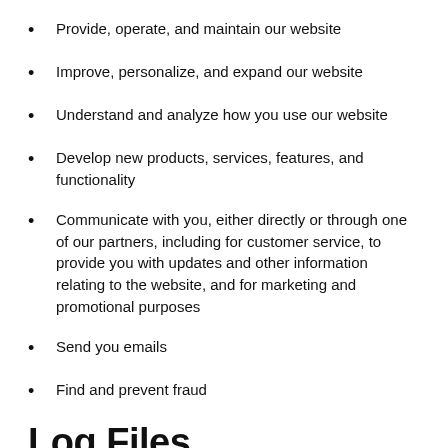Provide, operate, and maintain our website
Improve, personalize, and expand our website
Understand and analyze how you use our website
Develop new products, services, features, and functionality
Communicate with you, either directly or through one of our partners, including for customer service, to provide you with updates and other information relating to the website, and for marketing and promotional purposes
Send you emails
Find and prevent fraud
Log Files